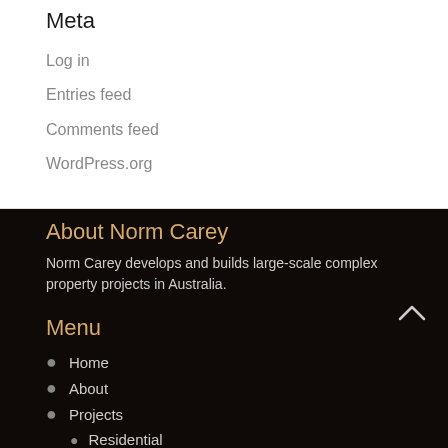Meta
Log in
Entries feed
Comments feed
WordPress.org
About Norm Carey
Norm Carey develops and builds large-scale complex property projects in Australia.
Menu
Home
About
Projects
Residential